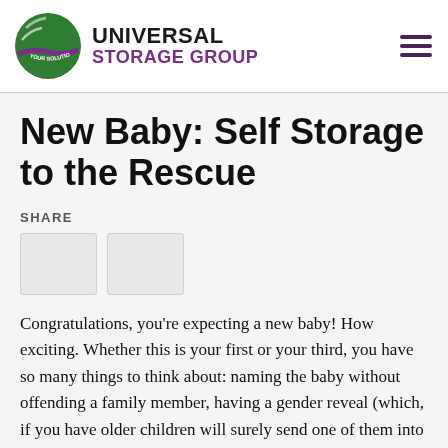[Figure (logo): Universal Storage Group logo with green globe icon and purple/black text]
New Baby: Self Storage to the Rescue
SHARE
Congratulations, you're expecting a new baby! How exciting. Whether this is your first or your third, you have so many things to think about: naming the baby without offending a family member, having a gender reveal (which, if you have older children will surely send one of them into a tantrum), researching the safest car seat (they